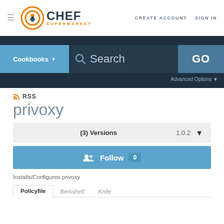Chef Supermarket — CREATE ACCOUNT   SIGN IN
[Figure (screenshot): Chef Supermarket search bar with Cookbooks dropdown, Search input, GO button, and Advanced Options link]
RSS
privoxy
(3) Versions   1.0.2
Follow   0
Installs/Configures privoxy
Policyfile   Berkshelf   Knife